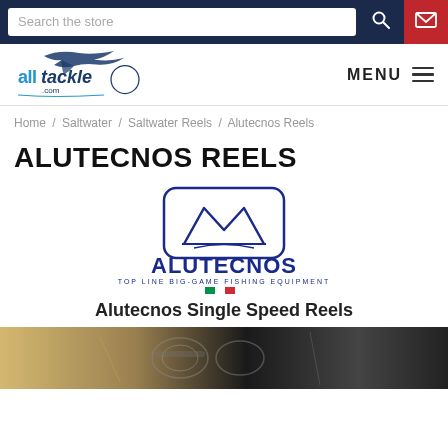Search the store
[Figure (logo): alltackle.com logo with marlin fish]
MENU
Home / Saltwater / Saltwater Reels / Alutecnos Reels
ALUTECNOS REELS
[Figure (logo): Alutecnos logo - TOP LINE BIG-GAME FISHING EQUIPMENT with Italian flag and 'made in Italy' text]
Alutecnos Single Speed Reels
[Figure (photo): Photo of fishing reels - product image strip at bottom]